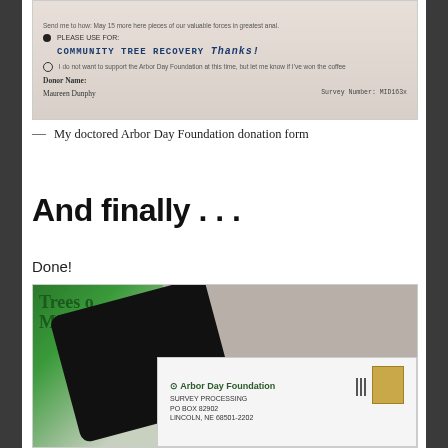[Figure (photo): Doctored Arbor Day Foundation donation form with handwritten text reading 'PLEASE USE FOR: COMMUNITY TREE RECOVERY Thanks!' with donor name Maureen Dunphy and survey number visible]
— My doctored Arbor Day Foundation donation form
And finally . . .
Done!
[Figure (photo): Photo showing a smartphone, a Trees of Michigan book, and a return envelope addressed to Arbor Day Foundation Survey Processing, PO Box 82902, Lincoln, NE 68501-2202, with a stamp in the upper right corner]